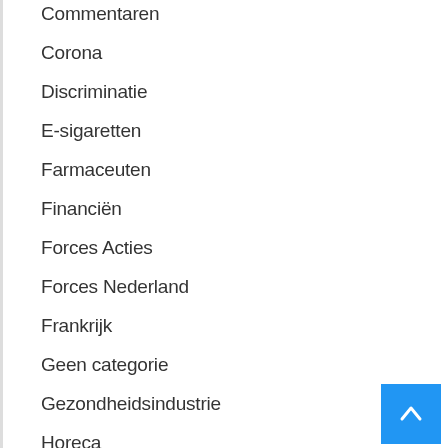Commentaren
Corona
Discriminatie
E-sigaretten
Farmaceuten
Financiën
Forces Acties
Forces Nederland
Frankrijk
Geen categorie
Gezondheidsindustrie
Horeca
Kleine horeca archief